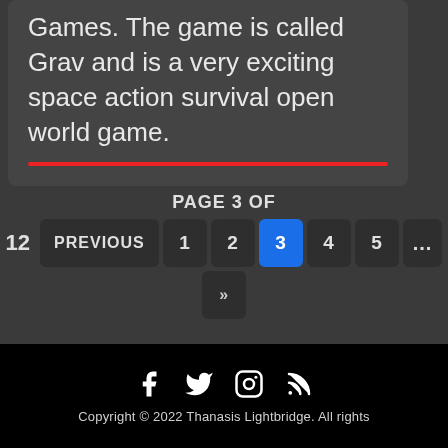Games. The game is called Grav and is a very exciting space action survival open world game.
PAGE 3 OF
12  PREVIOUS  1  2  3  4  5  ...  »
Copyright © 2022 Thanasis Lightbridge. All rights